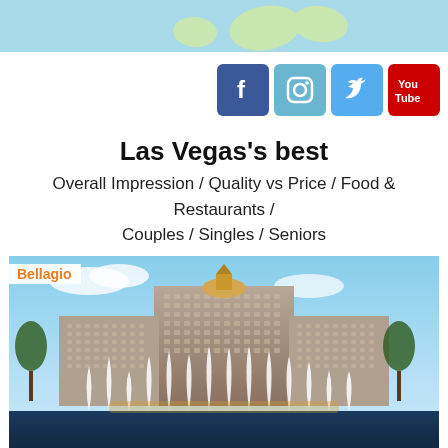[Figure (illustration): Page header with light blue background and green map continent shapes]
[Figure (screenshot): Social media icons: Facebook, Instagram, Twitter, YouTube]
Las Vegas's best
Overall Impression / Quality vs Price / Food & Restaurants / Couples / Singles / Seniors
[Figure (photo): Photo of Bellagio hotel in Las Vegas with fountains in front, labeled 'Bellagio' in orange text overlay]